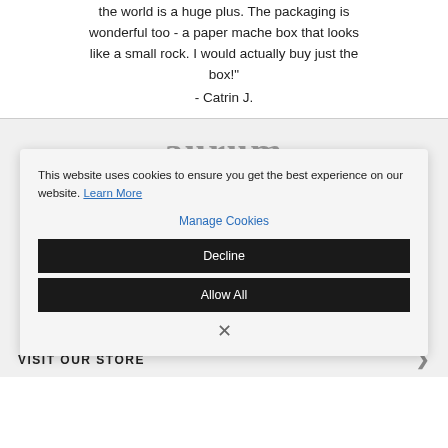the world is a huge plus. The packaging is wonderful too - a paper mache box that looks like a small rock. I would actually buy just the box!" - Catrin J.
[Figure (logo): Aurum brand logo text in large gray serif letters]
This website uses cookies to ensure you get the best experience on our website. Learn More
Manage Cookies
Decline
Allow All
VISIT OUR STORE